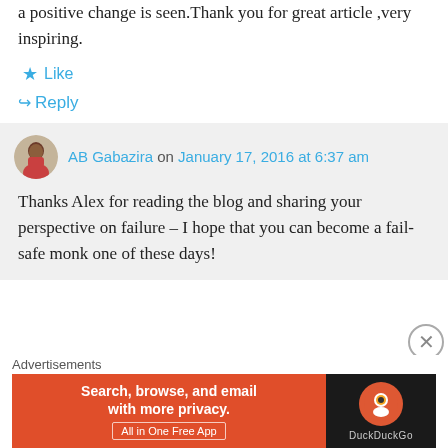a positive change is seen.Thank you for great article ,very inspiring.
★ Like
↪ Reply
AB Gabazira on January 17, 2016 at 6:37 am
Thanks Alex for reading the blog and sharing your perspective on failure – I hope that you can become a fail-safe monk one of these days!
Advertisements
[Figure (other): DuckDuckGo advertisement banner: 'Search, browse, and email with more privacy. All in One Free App' with DuckDuckGo logo on dark background.]